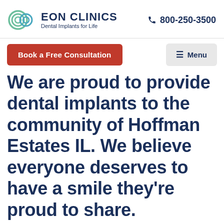EON CLINICS Dental Implants for Life | 800-250-3500
Book a Free Consultation
Menu
We are proud to provide dental implants to the community of Hoffman Estates IL. We believe everyone deserves to have a smile they're proud to share.
Serving customers seeking dental implants